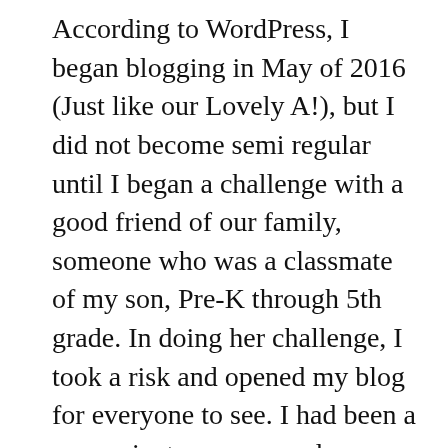According to WordPress, I began blogging in May of 2016 (Just like our Lovely A!), but I did not become semi regular until I began a challenge with a good friend of our family, someone who was a classmate of my son, Pre-K through 5th grade. In doing her challenge, I took a risk and opened my blog for everyone to see. I had been a very private person, and was extremely apprehensive about giving the world access to me, but it was something the Lord was leading me to do. I told no one, not even the family friend, in case I had any issues I could just close it back without hurting anyone's feelings. I followed the link to someone who had liked my post and